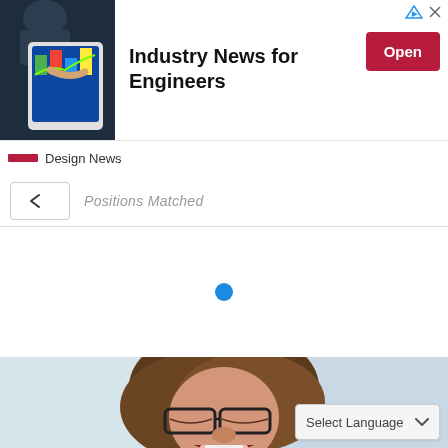[Figure (screenshot): Advertisement banner for Design News - Industry News for Engineers, with an image of a person using a tablet showing engineering graphics, an Open button, and the Design News logo below.]
Positions Matched
[Figure (screenshot): A loading indicator - a single blue filled circle dot centered on a white background area.]
[Figure (photo): A woman with glasses and brown hair laughing or smiling with eyes closed, photographed from above. Background is light blue/grey.]
Select Language